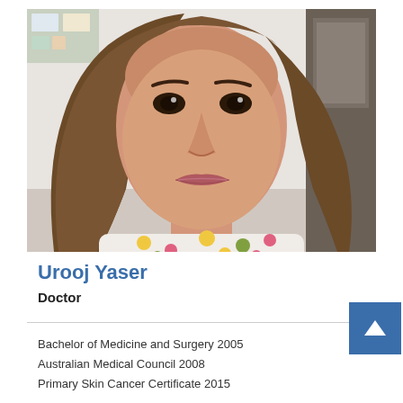[Figure (photo): Portrait photo of Urooj Yaser, a woman with long brown hair wearing a floral top, photographed in what appears to be an office/clinic setting]
Urooj Yaser
Doctor
Bachelor of Medicine and Surgery 2005
Australian Medical Council 2008
Primary Skin Cancer Certificate 2015